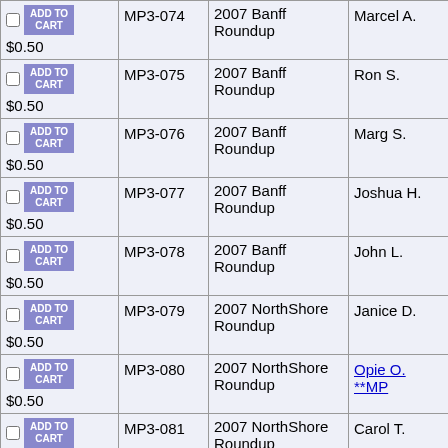| Add to Cart / Price | ID | Event | Name |
| --- | --- | --- | --- |
| ADD TO CART / $0.50 | MP3-074 | 2007 Banff Roundup | Marcel A. |
| ADD TO CART / $0.50 | MP3-075 | 2007 Banff Roundup | Ron S. |
| ADD TO CART / $0.50 | MP3-076 | 2007 Banff Roundup | Marg S. |
| ADD TO CART / $0.50 | MP3-077 | 2007 Banff Roundup | Joshua H. |
| ADD TO CART / $0.50 | MP3-078 | 2007 Banff Roundup | John L. |
| ADD TO CART / $0.50 | MP3-079 | 2007 NorthShore Roundup | Janice D. |
| ADD TO CART / $0.50 | MP3-080 | 2007 NorthShore Roundup | Opie O. **MP |
| ADD TO CART / $0.50 | MP3-081 | 2007 NorthShore Roundup | Carol T. |
| ADD TO CART / $0.50 | MP3-082 | 2007 NorthShore Roundup | Ed M. |
| ADD TO CART / $0.50 | MP3-??? | 2007 Al Anon |  |